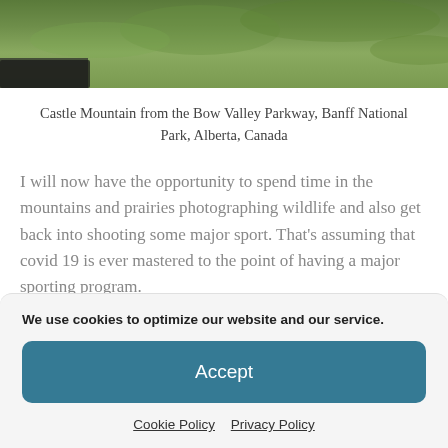[Figure (photo): Partial view of Castle Mountain from the Bow Valley Parkway, showing green shrubs and vegetation, with a dark wooden structure at the lower left.]
Castle Mountain from the Bow Valley Parkway, Banff National Park, Alberta, Canada
I will now have the opportunity to spend time in the mountains and prairies photographing wildlife and also get back into shooting some major sport. That's assuming that covid 19 is ever mastered to the point of having a major sporting program.
This year has hit many sports photographers really hard. I
We use cookies to optimize our website and our service.
Accept
Cookie Policy   Privacy Policy